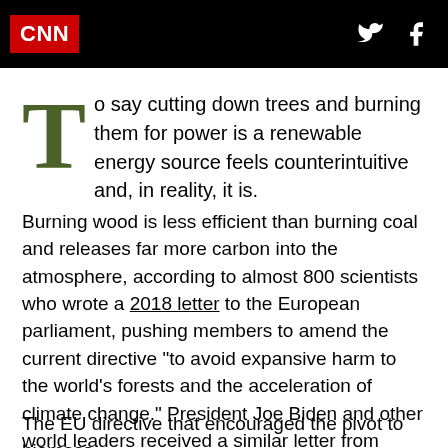CNN [Twitter icon] [Facebook icon]
To say cutting down trees and burning them for power is a renewable energy source feels counterintuitive and, in reality, it is.
Burning wood is less efficient than burning coal and releases far more carbon into the atmosphere, according to almost 800 scientists who wrote a 2018 letter to the European parliament, pushing members to amend the current directive “to avoid expansive harm to the world’s forests and the acceleration of climate change.” President Joe Biden and other world leaders received a similar letter from hundreds of climate scientists earlier this year.
The EU directive that encouraged the pivot to biomass